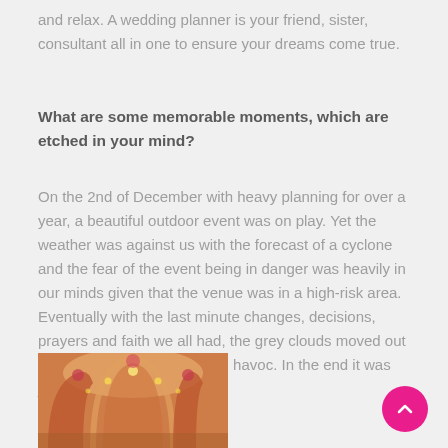and relax. A wedding planner is your friend, sister, consultant all in one to ensure your dreams come true.
What are some memorable moments, which are etched in your mind?
On the 2nd of December with heavy planning for over a year, a beautiful outdoor event was on play. Yet the weather was against us with the forecast of a cyclone and the fear of the event being in danger was heavily in our minds given that the venue was in a high-risk area. Eventually with the last minute changes, decisions, prayers and faith we all had, the grey clouds moved out with barely any wind causing havoc. In the end it was just perfect...
[Figure (photo): Wedding venue decoration with arches and warm lighting, red and golden tones]